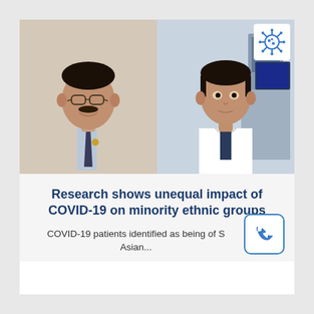[Figure (photo): Two men side by side: left man wearing glasses, dark suit with tie and gold lapel pin; right man wearing white lab coat in a medical/lab setting. A coronavirus icon appears in the top-right corner of the photo.]
Research shows unequal impact of COVID-19 on minority ethnic groups
COVID-19 patients identified as being of S Asian...